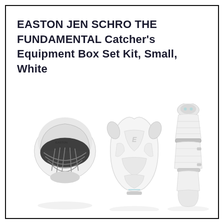EASTON JEN SCHRO THE FUNDAMENTAL Catcher's Equipment Box Set Kit, Small, White
[Figure (photo): Product photo of Easton Jen Schro The Fundamental catcher's equipment set in white, showing three pieces: a white catcher's helmet/mask with steel cage on the left, a white chest protector with Easton logo in the center, and white leg guards on the right.]